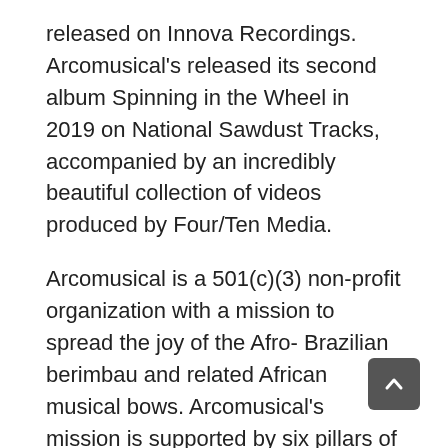released on Innova Recordings. Arcomusical's released its second album Spinning in the Wheel in 2019 on National Sawdust Tracks, accompanied by an incredibly beautiful collection of videos produced by Four/Ten Media.
Arcomusical is a 501(c)(3) non-profit organization with a mission to spread the joy of the Afro- Brazilian berimbau and related African musical bows. Arcomusical's mission is supported by six pillars of activity: performance, education, composition, publication, research, and community.
What is a musical bow? Although the berimbau is a well-known instrument in Brazil, most people in the United States remain unaware of this instrument family and its elegant beauty and simplicity. Musical bows are the most popular and widespread traditional string instrument